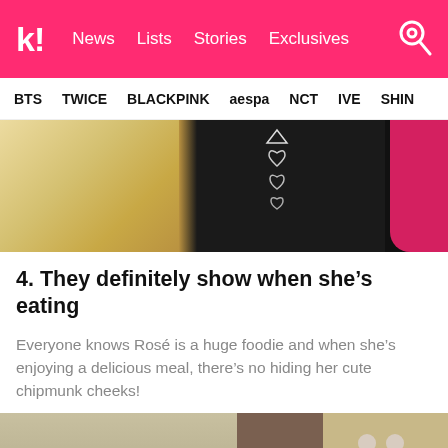k! News Lists Stories Exclusives
BTS TWICE BLACKPINK aespa NCT IVE SHINE
[Figure (photo): Photo showing a person with blonde hair next to someone in a black top with heart embellishments and a red sleeve visible on the right]
4. They definitely show when she's eating
Everyone knows Rosé is a huge foodie and when she's enjoying a delicious meal, there's no hiding her cute chipmunk cheeks!
[Figure (photo): Bottom portion of another photo, partially cut off]